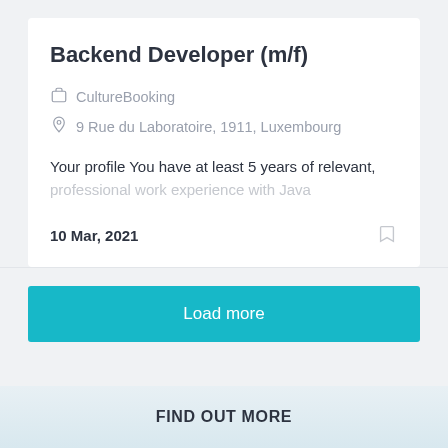Backend Developer (m/f)
CultureBooking
9 Rue du Laboratoire, 1911, Luxembourg
Your profile You have at least 5 years of relevant, professional work experience with Java
10 Mar, 2021
Load more
FIND OUT MORE